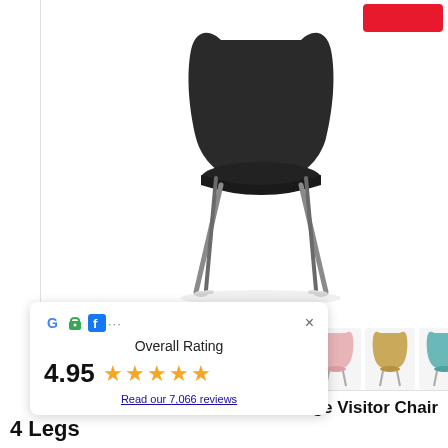[Figure (photo): Black modern visitor chair with chrome 4-leg base, shown on white background]
[Figure (photo): Row of thumbnail color variants of the same chair: white, beige, pink, tan/gold, teal]
[Figure (infographic): Google/GMB overall rating overlay popup showing 4.95 stars from 7,066 reviews]
nge Visitor Chair
4 Legs